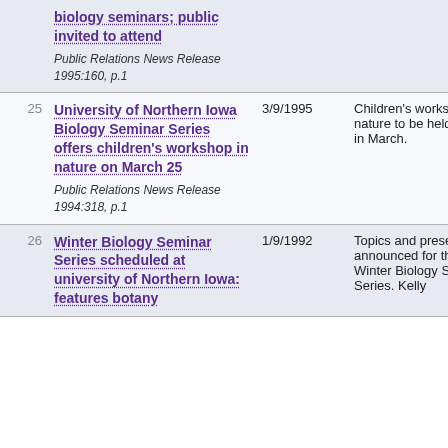| # | Title / Source | Date | Description |
| --- | --- | --- | --- |
|  | biology seminars; public invited to attend
Public Relations News Release 1995:160, p.1 |  |  |
| 25 | University of Northern Iowa Biology Seminar Series offers children's workshop in nature on March 25
Public Relations News Release 1994:318, p.1 | 3/9/1995 | Children's workshop in nature to be held later in March. |
| 26 | Winter Biology Seminar Series scheduled at university of Northern Iowa: features botany
 | 1/9/1992 | Topics and presenters announced for the Winter Biology Seminar Series. Kelly |